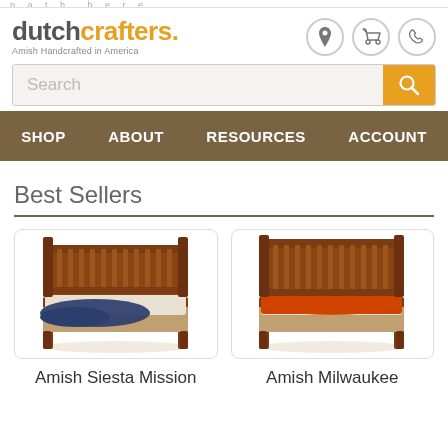dutchcrafters. Amish Handcrafted in America
[Figure (screenshot): Search bar with placeholder text 'Search' and orange search button]
[Figure (screenshot): Navigation bar with items: SHOP, ABOUT, RESOURCES, ACCOUNT on brown background]
Best Sellers
[Figure (photo): Amish Siesta Mission bed with dark navy throw blanket, brown wooden slat headboard and footboard]
[Figure (photo): Amish Milwaukee bed with orange/red bedding, brown wooden slat headboard and footboard]
Amish Siesta Mission
Amish Milwaukee